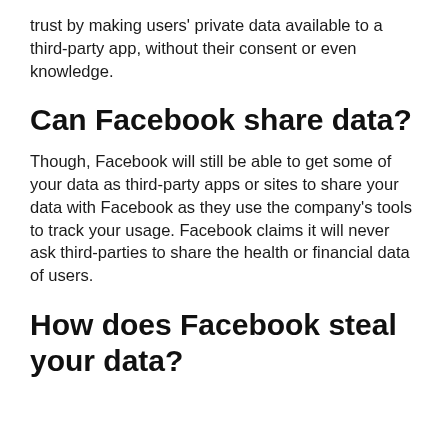trust by making users' private data available to a third-party app, without their consent or even knowledge.
Can Facebook share data?
Though, Facebook will still be able to get some of your data as third-party apps or sites to share your data with Facebook as they use the company's tools to track your usage. Facebook claims it will never ask third-parties to share the health or financial data of users.
How does Facebook steal your data?